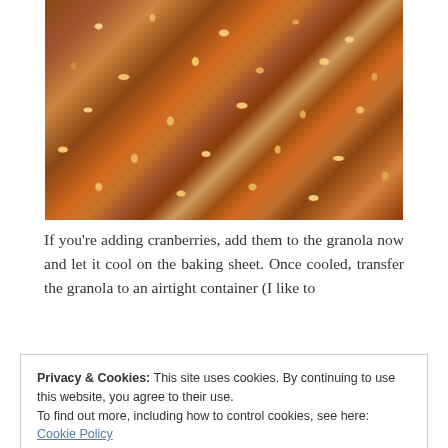[Figure (photo): Close-up photo of baked granola showing oats, nuts, and seeds clustered together with a golden-brown toasted color.]
If you’re adding cranberries, add them to the granola now and let it cool on the baking sheet. Once cooled, transfer the granola to an airtight container (I like to
Privacy & Cookies: This site uses cookies. By continuing to use this website, you agree to their use.
To find out more, including how to control cookies, see here: Cookie Policy
Close and accept